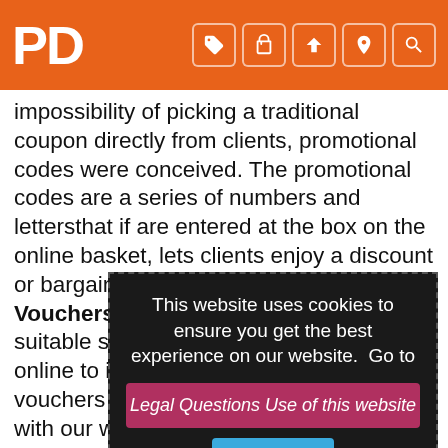PD
impossibility of picking a traditional coupon directly from clients, promotional codes were conceived. The promotional codes are a series of numbers and lettersthat if are entered at the box on the online basket, lets clients enjoy a discount or bargain on the online buys. So, on Vouchers-Vouchers.com we have a suitable springboard for shops which sell online to inform about online buyers those vouchers and improve sales. We help with our work retailers like The Decca Aollina and give coupons online and boost sales and let you spend less on your online buys. Are you waiting for seasonal sales to start. It can happen that seasonal sales takes some time to arrive? Would you like that sales last all year? Don't wait any longer! We offer to you the latests Discounts Codes and Coupons Codes for your online orders, without the need of waiting for a special date and host of all, no
This website uses cookies to ensure you get the best experience on our website.  Go to
Legal Questions Use of this website
Accept